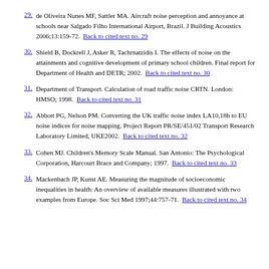29. de Oliveira Nunes MF, Sattler MA. Aircraft noise perception and annoyance at schools near Salgado Filho International Airport, Brazil. J Building Acoustics 2006;13:159-72. Back to cited text no. 29
30. Shield B, Dockrell J, Asker R, Tachrnatzidis I. The effects of noise on the attainments and cognitive development of primary school children. Final report for Department of Health and DETR; 2002. Back to cited text no. 30
31. Department of Transport. Calculation of road traffic noise CRTN. London: HMSO; 1998. Back to cited text no. 31
32. Abbott PG, Nelson PM. Converting the UK traffic noise index LA10,18h to EU noise indices for noise mapping. Project Report PR/SE/451/02 Transport Research Laboratory Limited, UKE2002. Back to cited text no. 32
33. Cohen MJ. Children's Memory Scale Manual. San Antonio: The Psychological Corporation, Harcourt Brace and Company; 1997. Back to cited text no. 33
34. Mackenbach JP, Kunst AE. Measuring the magnitude of socioeconomic inequalities in health: An overview of available measures illustrated with two examples from Europe. Soc Sci Med 1997;44:757-71. Back to cited text no. 34